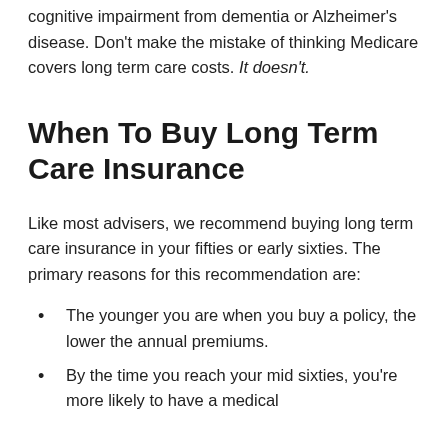cognitive impairment from dementia or Alzheimer's disease. Don't make the mistake of thinking Medicare covers long term care costs. It doesn't.
When To Buy Long Term Care Insurance
Like most advisers, we recommend buying long term care insurance in your fifties or early sixties. The primary reasons for this recommendation are:
The younger you are when you buy a policy, the lower the annual premiums.
By the time you reach your mid sixties, you're more likely to have a medical